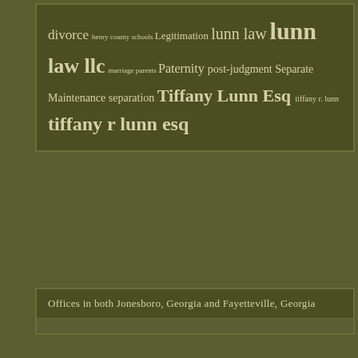[Figure (other): Tag cloud with legal terms including: divorce, henry county schools, Legitimation, lunn law, lunn, law llc, marriage, parents, Paternity, post-judgment, Separate Maintenance, separation, Tiffany Lunn Esq, tiffany r. lunn, tiffany r lunn esq]
Offices in both Jonesboro, Georgia and Fayetteville, Georgia
Hours & Main Address
124 S. Main Street
Suite 1F
Jonesboro, Georgia 30236
110 Habersham Drive
Suite 111
Fayetteville, Georgia 30236
Phone: 770-492-2974